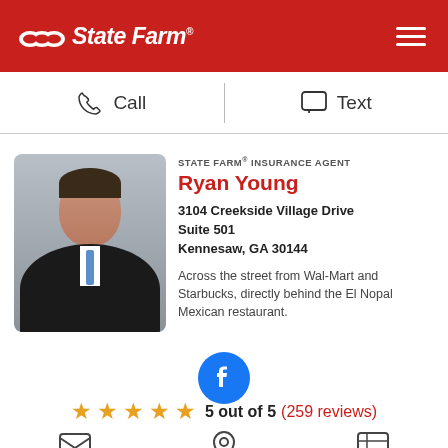State Farm
Call   Text
[Figure (photo): Headshot of male insurance agent Ryan Young in dark suit with blue tie, smiling, gray background]
STATE FARM® INSURANCE AGENT
Ryan Young
3104 Creekside Village Drive
Suite 501
Kennesaw, GA 30144
Across the street from Wal-Mart and Starbucks, directly behind the El Nopal Mexican restaurant.
[Figure (logo): Facebook blue circle icon with white f]
5 out of 5 (259 reviews)